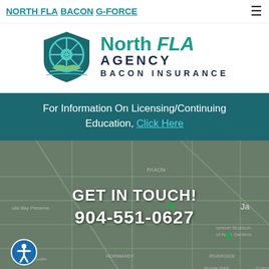NORTH FLA BACON G-FORCE
[Figure (logo): North FLA Agency Bacon Insurance logo with shield containing steering wheel and landscape motif]
For Information On Licensing/Continuing Education, Click Here
[Figure (map): Google Maps screenshot showing Jacksonville FL area including Paxon, Normandy, Riverside, Boone Park, Bulls Bay Preserve]
GET IN TOUCH! 904-551-0627